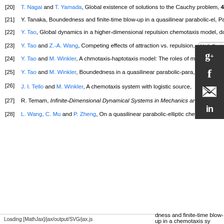[20] T. Nagai and T. Yamada, Global existence of solutions to the Cauchy problem, 462 (2018), 1519-1535. doi: 10.1016/j.jmaa.2018.02.057. [CrossRef] [Math Review]
[21] Y. Tanaka, Boundedness and finite-time blow-up in a quasilinear parabolic-el, Paper No. 125654, 29 pp. doi: 10.1016/j.jmaa.2021.125654. [CrossRef] [Math R]
[22] Y. Tao, Global dynamics in a higher-dimensional repulsion chemotaxis model, doi: 10.3934/dcdsb.2013.18.2705. [CrossRef] [Math Review] [Google]
[23] Y. Tao and Z.-A. Wang, Competing effects of attraction vs. repulsion, [Math Review] [Google]
[24] Y. Tao and M. Winkler, A chmotaxis-haptotaxis model: The roles of m, [Math Review] [Google]
[25] Y. Tao and M. Winkler, Boundedness in a quasilinear parabolic-para, doi: 10.1016/j.jde.2011.08.019. [CrossRef] [Math Review] [Google]
[26] J. I. Tello and M. Winkler, A chemotaxis system with logistic source, [Google]
[27] R. Temam, Infinite-Dimensional Dynamical Systems in Mechanics ard, [CrossRef] [Math Review] [Google]
[28] L. Wang, C. Mu and P. Zheng, On a quasilinear parabolic-elliptic chemotaxis, [Math Review] [Google]
Loading [MathJax]/jax/output/SVG/jax.js
dness and finite-time blow-up in a chemotaxis sy